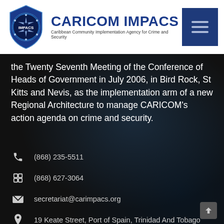[Figure (logo): CARICOM IMPACS logo — shield shape with 'IMPACS' text, blue circular design, accompanied by text 'CARICOM IMPACS' and subtitle 'Caribbean Community Implementation Agency for Crime and Security']
the Twenty Seventh Meeting of the Conference of Heads of Government in July 2006, in Bird Rock, St Kitts and Nevis, as the implementation arm of a new Regional Architecture to manage CARICOM's action agenda on crime and security.
(868) 235-5511
(868) 627-3064
secretariat@carimpacs.org
19 Keate Street, Port of Spain, Trinidad And Tobago